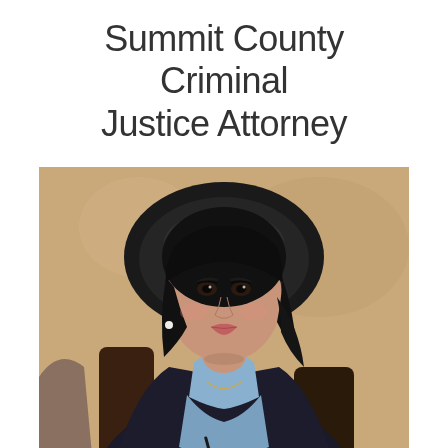Summit County Criminal Justice Attorney
[Figure (photo): A professional woman with dark hair wearing a black blazer and light blue shirt, seated in a black leather chair in what appears to be a legal or office setting. She is looking at the camera with a serious expression.]